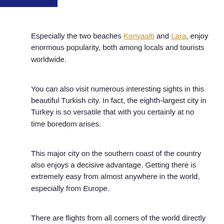Especially the two beaches Konyaalti and Lara, enjoy enormous popularity, both among locals and tourists worldwide.
You can also visit numerous interesting sights in this beautiful Turkish city. In fact, the eighth-largest city in Turkey is so versatile that with you certainly at no time boredom arises.
This major city on the southern coast of the country also enjoys a decisive advantage. Getting there is extremely easy from almost anywhere in the world, especially from Europe.
There are flights from all corners of the world directly to Antalya throughout the year, while for many other cities, you often have to change planes in Istanbul.